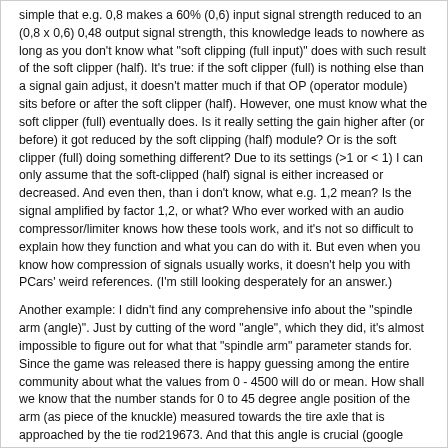simple that e.g. 0,8 makes a 60% (0,6) input signal strength reduced to an (0,8 x 0,6) 0,48 output signal strength, this knowledge leads to nowhere as long as you don't know what "soft clipping (full input)" does with such result of the soft clipper (half). It's true: if the soft clipper (full) is nothing else than a signal gain adjust, it doesn't matter much if that OP (operator module) sits before or after the soft clipper (half). However, one must know what the soft clipper (full) eventually does. Is it really setting the gain higher after (or before) it got reduced by the soft clipping (half) module? Or is the soft clipper (full) doing something different? Due to its settings (>1 or < 1) I can only assume that the soft-clipped (half) signal is either increased or decreased. And even then, than i don't know, what e.g. 1,2 mean? Is the signal amplified by factor 1,2, or what? Who ever worked with an audio compressor/limiter knows how these tools work, and it's not so difficult to explain how they function and what you can do with it. But even when you know how compression of signals usually works, it doesn't help you with PCars' weird references. (I'm still looking desperately for an answer.)
Another example: I didn't find any comprehensive info about the "spindle arm (angle)". Just by cutting of the word "angle", which they did, it's almost impossible to figure out for what that "spindle arm" parameter stands for. Since the game was released there is happy guessing among the entire community about what the values from 0 - 4500 will do or mean. How shall we know that the number stands for 0 to 45 degree angle position of the arm (as piece of the knuckle) measured towards the tire axle that is approached by the tie rod219673. And that this angle is crucial (google "Ackermann Angle") to make sure that during cornering the outer tire is on its bigger radius circle track without unnecessary slip friction, while the inner tire can do the same on its smaller radius circle.219674. With such a little hint (that the devs could have given) things get so much easier to understand: 0 = 90 degrees to tire axle, 4500 = 45 degrees to it (check picture by looking from above), you realize why 0 = stickier (heavy) FFB feeling (depending on how strong you set the Fm Alignment torque force), while the max 4500 lead to a "lighter" FFB feeling, since the outer and the inner tire suffer less slip friction - with a value somewhere between 1500 - 4500 (depending on the distance of front and rear axis; so length of the car, and wished maximum steering angle (for tight or long corners)).
My point is: I know that PCars was developed with relatively little money, and